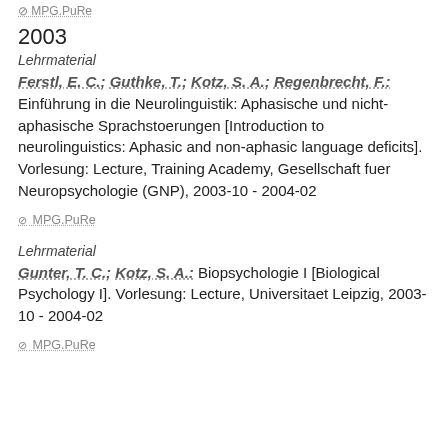MPG.PuRe (top link, truncated)
2003
Lehrmaterial
Ferstl, E. C.; Guthke, T.; Kotz, S. A.; Regenbrecht, F.: Einführung in die Neurolinguistik: Aphasische und nicht-aphasische Sprachstoerungen [Introduction to neurolinguistics: Aphasic and non-aphasic language deficits]. Vorlesung: Lecture, Training Academy, Gesellschaft fuer Neuropsychologie (GNP), 2003-10 - 2004-02
MPG.PuRe
Lehrmaterial
Gunter, T. C.; Kotz, S. A.: Biopsychologie I [Biological Psychology I]. Vorlesung: Lecture, Universitaet Leipzig, 2003-10 - 2004-02
MPG.PuRe